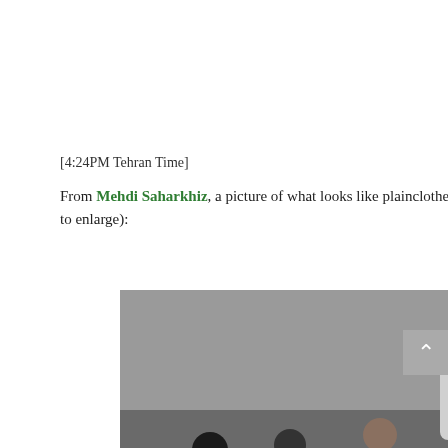[4:24PM Tehran Time]
From Mehdi Saharkhiz, a picture of what looks like plainclothes Basij vigilantes, mixed with uniformed forces, and possibly protesters (click to enlarge):
[Figure (photo): Street scene showing a crowd of people including plainclothes individuals, uniformed forces, and protesters on a city street. A car is visible in the background. Arabic/Persian text overlay at bottom reads: شبکه جنبش راه سبز - جرس]
شبکه جنبش راه سبز - جرس